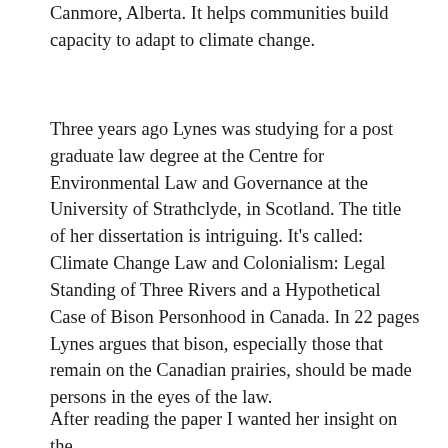Canmore, Alberta. It helps communities build capacity to adapt to climate change.
Three years ago Lynes was studying for a post graduate law degree at the Centre for Environmental Law and Governance at the University of Strathclyde, in Scotland. The title of her dissertation is intriguing. It's called:  Climate Change Law and Colonialism: Legal Standing of Three Rivers and a Hypothetical Case of Bison Personhood in Canada. In 22 pages Lynes argues that bison, especially those that remain on the Canadian prairies, should be made persons in the eyes of the law.
After reading the paper I wanted her insight on the